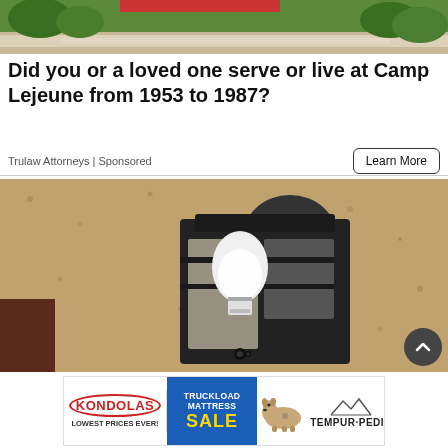[Figure (illustration): Top strip showing an illustrated scene with green trees, grass, and a tan/beige road or path]
Did you or a loved one serve or live at Camp Lejeune from 1953 to 1987?
Trulaw Attorneys | Sponsored
Learn More
[Figure (photo): Close-up photograph of a black lantern-style outdoor wall sconce mounted on a rough stucco wall, with a white LED/CFL bulb visible inside the metal and glass fixture]
[Figure (other): Kondolas Truckload Mattress Sale advertisement banner featuring Kondolas logo in red oval, blue TRUCKLOAD MATTRESS SALE text, a stuffed animal dog, and Tempur-Pedic branding with mountain logo]